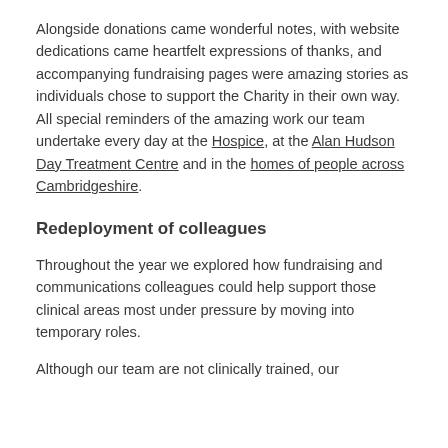Alongside donations came wonderful notes, with website dedications came heartfelt expressions of thanks, and accompanying fundraising pages were amazing stories as individuals chose to support the Charity in their own way. All special reminders of the amazing work our team undertake every day at the Hospice, at the Alan Hudson Day Treatment Centre and in the homes of people across Cambridgeshire.
Redeployment of colleagues
Throughout the year we explored how fundraising and communications colleagues could help support those clinical areas most under pressure by moving into temporary roles.
Although our team are not clinically trained, our